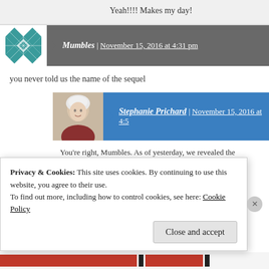Yeah!!!! Makes my day!
Mumbles | November 15, 2016 at 4:31 pm
you never told us the name of the sequel
Stephanie Prichard | November 15, 2016 at 4:5...
You’re right, Mumbles. As of yesterday, we revealed the... order with delivery on 11-25. The title is Forgotten: Â©...
Privacy & Cookies: This site uses cookies. By continuing to use this website, you agree to their use.
To find out more, including how to control cookies, see here: Cookie Policy
Close and accept